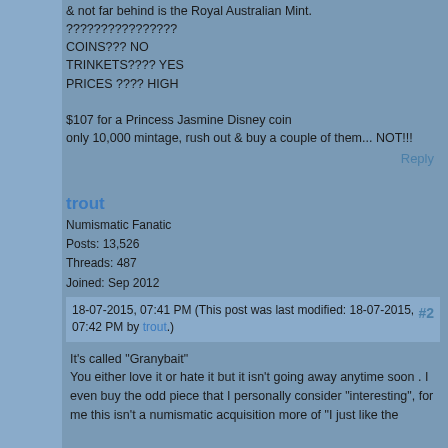& not far behind is the Royal Australian Mint.
????????????????
COINS??? NO
TRINKETS???? YES
PRICES ???? HIGH

$107 for a Princess Jasmine Disney coin
only 10,000 mintage, rush out & buy a couple of them... NOT!!!
Reply
trout
Numismatic Fanatic
Posts: 13,526
Threads: 487
Joined: Sep 2012
18-07-2015, 07:41 PM (This post was last modified: 18-07-2015, 07:42 PM by trout.) #2
It's called "Granybait"
You either love it or hate it but it isn't going away anytime soon . I even buy the odd piece that I personally consider "interesting", for me this isn't a numismatic acquisition more of "I just like the